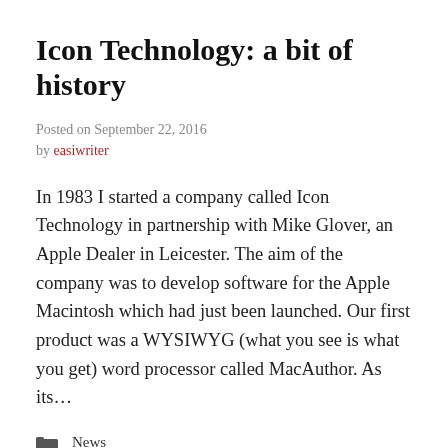Icon Technology: a bit of history
Posted on September 22, 2016
by easiwriter
In 1983 I started a company called Icon Technology in partnership with Mike Glover, an Apple Dealer in Leicester. The aim of the company was to develop software for the Apple Macintosh which had just been launched. Our first product was a WYSIWYG (what you see is what you get) word processor called MacAuthor. As its…
News